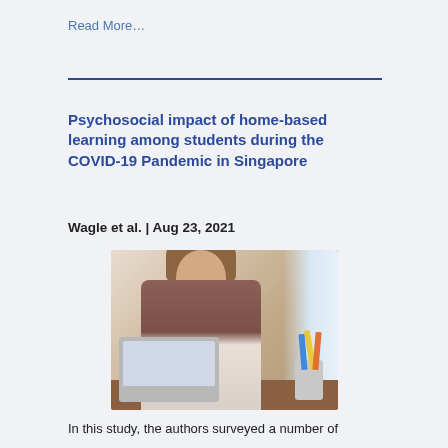Read More…
Psychosocial impact of home-based learning among students during the COVID-19 Pandemic in Singapore
Wagle et al. | Aug 23, 2021
[Figure (photo): A female student wearing glasses sitting at a desk with a laptop, holding a pencil to her mouth, with colored pencils in a cup beside the laptop]
In this study, the authors surveyed a number of